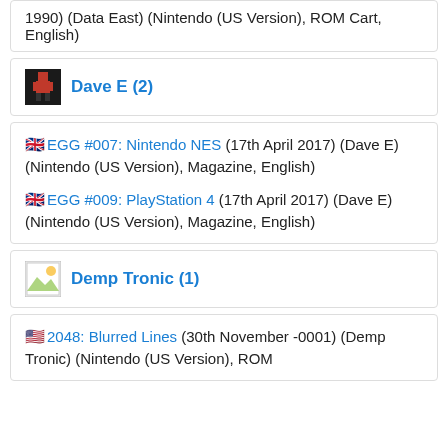1990) (Data East) (Nintendo (US Version), ROM Cart, English)
Dave E (2)
EGG #007: Nintendo NES (17th April 2017) (Dave E) (Nintendo (US Version), Magazine, English)
EGG #009: PlayStation 4 (17th April 2017) (Dave E) (Nintendo (US Version), Magazine, English)
Demp Tronic (1)
2048: Blurred Lines (30th November -0001) (Demp Tronic) (Nintendo (US Version), ROM